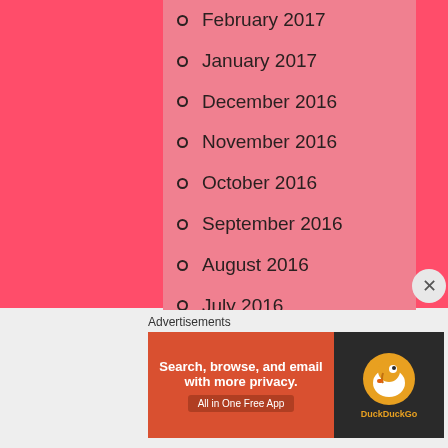February 2017
January 2017
December 2016
November 2016
October 2016
September 2016
August 2016
July 2016
June 2016
May 2016
April 2016
Advertisements
[Figure (screenshot): DuckDuckGo advertisement banner: Search, browse, and email with more privacy. All in One Free App. DuckDuckGo logo on dark background.]